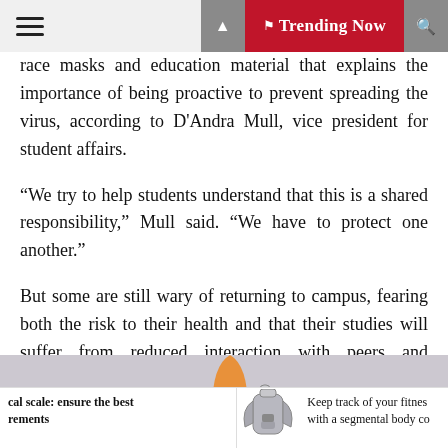Trending Now
race masks and education material that explains the importance of being proactive to prevent spreading the virus, according to D'Andra Mull, vice president for student affairs.
“We try to help students understand that this is a shared responsibility,” Mull said. “We have to protect one another.”
But some are still wary of returning to campus, fearing both the risk to their health and that their studies will suffer from reduced interaction with peers and professors.
[Figure (photo): Photo showing a small dark plant silhouette on the left and an orange rocket shape with a grey robot/claw hand at the center, against a purple-grey background.]
cal scale: ensure the best rements
Keep track of your fitnes with a segmental body co